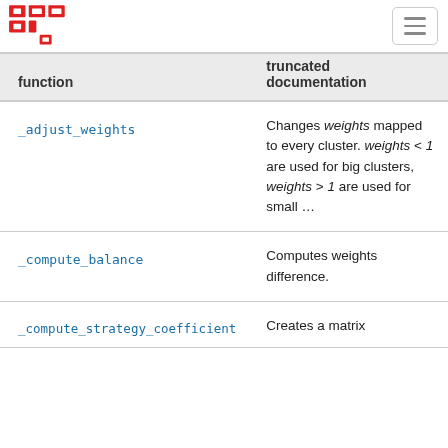[logo] [hamburger menu]
| function | truncated documentation |
| --- | --- |
| _adjust_weights | Changes weights mapped to every cluster. weights < 1 are used for big clusters, weights > 1 are used for small … |
| _compute_balance | Computes weights difference. |
| _compute_strategy_coefficient | Creates a matrix |